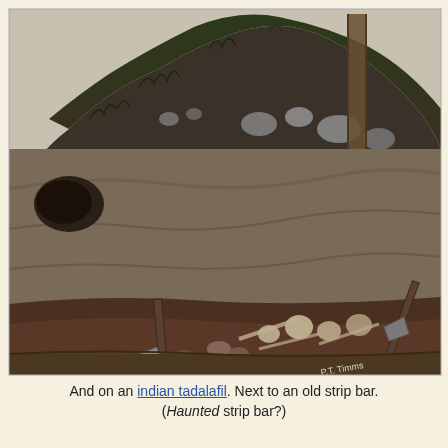[Figure (photo): Black and white photograph of an archaeological excavation cross-section showing layers of soil and vegetation at the top, with skeletal remains and excavation tools (axes, trowels) visible at the bottom of the cut. A wooden post is visible in the upper right. The photographer credit 'P.T. Timms' is written in the lower right corner.]
And on an indian tadalafil. Next to an old strip bar. (Haunted strip bar?)